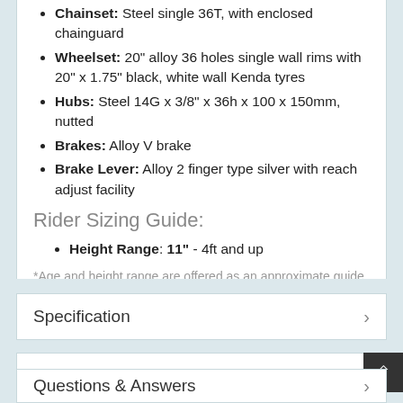Chainset: Steel single 36T, with enclosed chainguard
Wheelset: 20" alloy 36 holes single wall rims with 20" x 1.75" black, white wall Kenda tyres
Hubs: Steel 14G x 3/8" x 36h x 100 x 150mm, nutted
Brakes: Alloy V brake
Brake Lever: Alloy 2 finger type silver with reach adjust facility
Rider Sizing Guide:
Height Range: 11" - 4ft and up
*Age and height range are offered as an approximate guide only
Specification
More Info
Questions & Answers